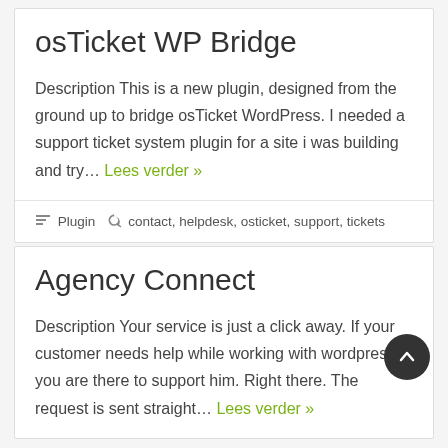osTicket WP Bridge
Description This is a new plugin, designed from the ground up to bridge osTicket WordPress. I needed a support ticket system plugin for a site i was building and try... Lees verder »
Plugin  contact, helpdesk, osticket, support, tickets
Agency Connect
Description Your service is just a click away. If your customer needs help while working with wordpress, you are there to support him. Right there. The request is sent straight... Lees verder »